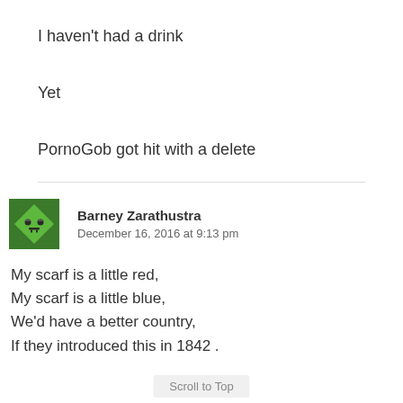I haven't had a drink
Yet
PornoGob got hit with a delete
Barney Zarathustra
December 16, 2016 at 9:13 pm
My scarf is a little red,
My scarf is a little blue,
We'd have a better country,
If they introduced this in 1842 .
Scroll to Top